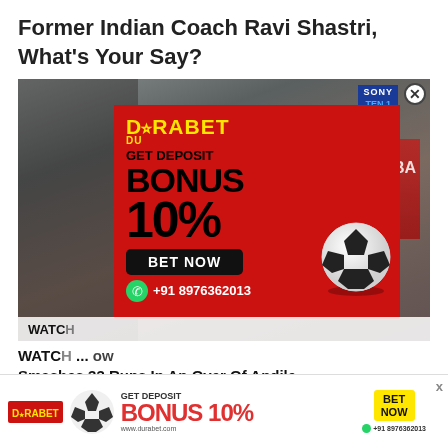Former Indian Coach Ravi Shastri, What's Your Say?
[Figure (screenshot): Sports broadcast screenshot with Durabet betting advertisement overlay showing red background with DURABET logo in yellow, GET DEPOSIT BONUS 10% text, BET NOW button, and +91 8976362013 WhatsApp number]
WATCH ... ow Smashes 33 Runs In An Over Of Andile
[Figure (infographic): Bottom banner ad for Durabet showing logo, soccer ball, GET DEPOSIT BONUS 10% text in red, BET NOW button in yellow, www.durabet.com, and WhatsApp +91 8976362013]